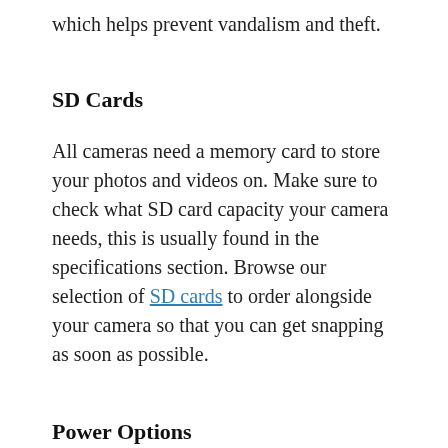which helps prevent vandalism and theft.
SD Cards
All cameras need a memory card to store your photos and videos on. Make sure to check what SD card capacity your camera needs, this is usually found in the specifications section. Browse our selection of SD cards to order alongside your camera so that you can get snapping as soon as possible.
Power Options
Most cameras are powered by batteries. We